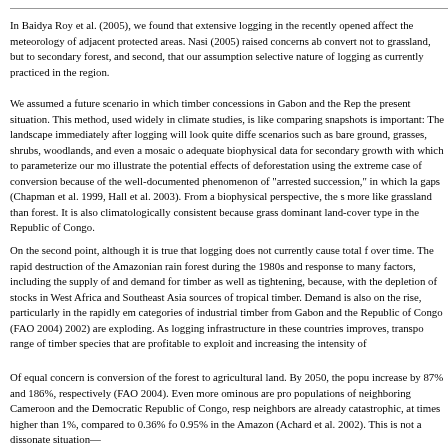In Baidya Roy et al. (2005), we found that extensive logging in the recently opened affect the meteorology of adjacent protected areas. Nasi (2005) raised concerns ab convert not to grassland, but to secondary forest, and second, that our assumption selective nature of logging as currently practiced in the region.
We assumed a future scenario in which timber concessions in Gabon and the Rep the present situation. This method, used widely in climate studies, is like comparing snapshots is important: The landscape immediately after logging will look quite diffe scenarios such as bare ground, grasses, shrubs, woodlands, and even a mosaic o adequate biophysical data for secondary growth with which to parameterize our mo illustrate the potential effects of deforestation using the extreme case of conversion because of the well-documented phenomenon of "arrested succession," in which la gaps (Chapman et al. 1999, Hall et al. 2003). From a biophysical perspective, the s more like grassland than forest. It is also climatologically consistent because grass dominant land-cover type in the Republic of Congo.
On the second point, although it is true that logging does not currently cause total f over time. The rapid destruction of the Amazonian rain forest during the 1980s and response to many factors, including the supply of and demand for timber as well as tightening, because, with the depletion of stocks in West Africa and Southeast Asia sources of tropical timber. Demand is also on the rise, particularly in the rapidly em categories of industrial timber from Gabon and the Republic of Congo (FAO 2004) 2002) are exploding. As logging infrastructure in these countries improves, transpo range of timber species that are profitable to exploit and increasing the intensity of
Of equal concern is conversion of the forest to agricultural land. By 2050, the popu increase by 87% and 186%, respectively (FAO 2004). Even more ominous are pro populations of neighboring Cameroon and the Democratic Republic of Congo, resp neighbors are already catastrophic, at times higher than 1%, compared to 0.36% fo 0.95% in the Amazon (Achard et al. 2002). This is not a dissonate situation—